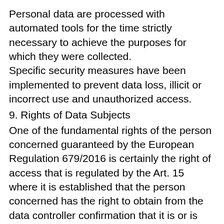Personal data are processed with automated tools for the time strictly necessary to achieve the purposes for which they were collected. Specific security measures have been implemented to prevent data loss, illicit or incorrect use and unauthorized access.
9. Rights of Data Subjects
One of the fundamental rights of the person concerned guaranteed by the European Regulation 679/2016 is certainly the right of access that is regulated by the Art. 15 where it is established that the person concerned has the right to obtain from the data controller confirmation that it is or is not undergoing treatment of personal data concerning him and, if this treatment is being processed, access to